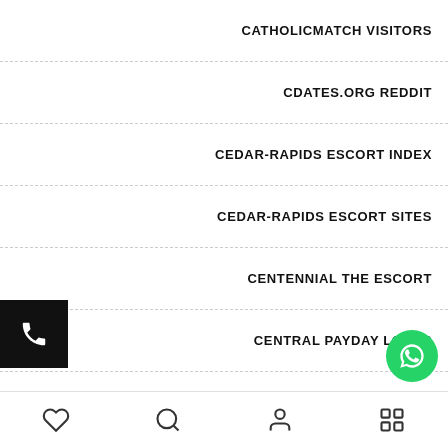CATHOLICMATCH VISITORS
CDATES.ORG REDDIT
CEDAR-RAPIDS ESCORT INDEX
CEDAR-RAPIDS ESCORT SITES
CENTENNIAL THE ESCORT
CENTRAL PAYDAY LOANS
CHARLESTON ESCORT INDEX
CHARLOTTE ESCORT NEAR M